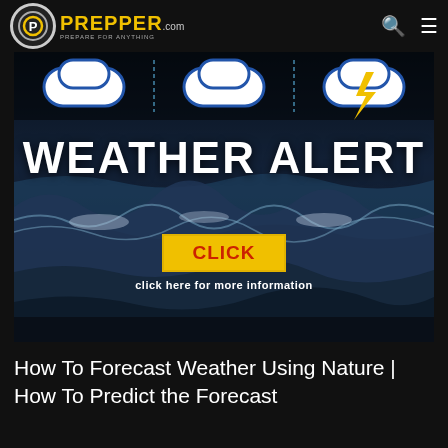PREPPER.com — PREPARE FOR ANYTHING
[Figure (photo): Weather alert banner image: stormy ocean waves with illustrated weather icons (clouds, lightning bolt) at top. Large white bold text reads 'WEATHER ALERT'. Yellow button with red text 'CLICK'. White text below: 'click here for more information']
How To Forecast Weather Using Nature | How To Predict the Forecast